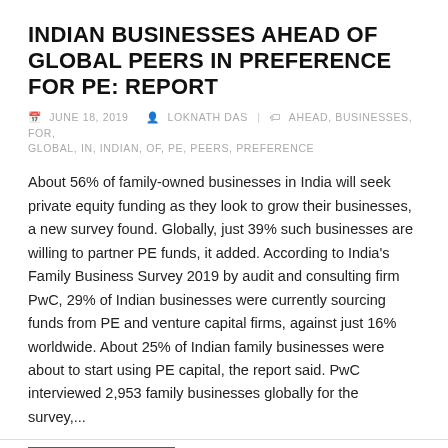INDIAN BUSINESSES AHEAD OF GLOBAL PEERS IN PREFERENCE FOR PE: REPORT
JUNE 18, 2019   LOKNATH DAS   AHEAD, BUSINESSES, FOR, GLOBAL, IN, INDIAN, OF, PE, PEERS, PREFERENCE
About 56% of family-owned businesses in India will seek private equity funding as they look to grow their businesses, a new survey found. Globally, just 39% such businesses are willing to partner PE funds, it added. According to India's Family Business Survey 2019 by audit and consulting firm PwC, 29% of Indian businesses were currently sourcing funds from PE and venture capital firms, against just 16% worldwide. About 25% of Indian family businesses were about to start using PE capital, the report said. PwC interviewed 2,953 family businesses globally for the survey,...
READ MORE